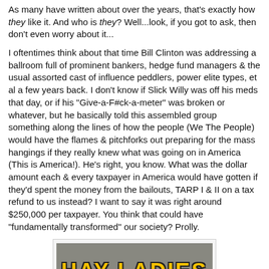As many have written about over the years, that's exactly how they like it. And who is they? Well...look, if you got to ask, then don't even worry about it...
I oftentimes think about that time Bill Clinton was addressing a ballroom full of prominent bankers, hedge fund managers & the usual assorted cast of influence peddlers, power elite types, et al a few years back. I don't know if Slick Willy was off his meds that day, or if his "Give-a-F#ck-a-meter" was broken or whatever, but he basically told this assembled group something along the lines of how the people (We The People) would have the flames & pitchforks out preparing for the mass hangings if they really knew what was going on in America (This is America!). He's right, you know. What was the dollar amount each & every taxpayer in America would have gotten if they'd spent the money from the bailouts, TARP I & II on a tax refund to us instead? I want to say it was right around $250,000 per taxpayer. You think that could have "fundamentally transformed" our society? Prolly.
[Figure (photo): Meme image with bold yellow text reading 'HAY LADIES' over a dark background with a figure]